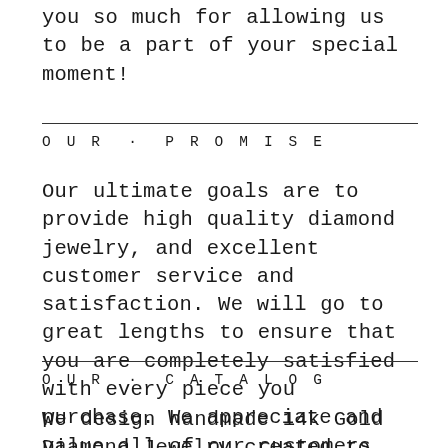you so much for allowing us to be a part of your special moment!
OUR · PROMISE
Our ultimate goals are to provide high quality diamond jewelry, and excellent customer service and satisfaction. We will go to great lengths to ensure that you are completely satisfied with every piece you purchase. We appreciate and value all of our customers and always work to make their shopping experience a pleasant one.
OUR · CATALOG
We design handmade 14k Gold Diamond Jewelry created to add sparkle to your special